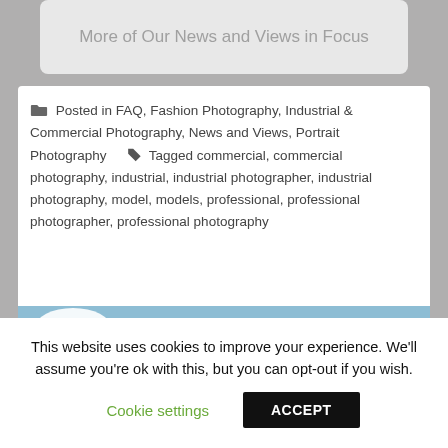More of Our News and Views in Focus
Posted in FAQ, Fashion Photography, Industrial & Commercial Photography, News and Views, Portrait Photography   Tagged commercial, commercial photography, industrial, industrial photographer, industrial photography, model, models, professional, professional photographer, professional photography
[Figure (photo): Partially visible outdoor photo with blue sky and white clouds, and a small figure at the bottom center]
This website uses cookies to improve your experience. We'll assume you're ok with this, but you can opt-out if you wish.
Cookie settings   ACCEPT